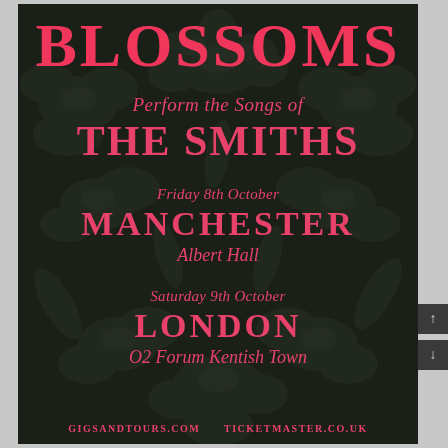BLOSSOMS
Perform the Songs of
THE SMITHS
Friday 8th October
MANCHESTER
Albert Hall
Saturday 9th October
LONDON
O2 Forum Kentish Town
GIGSANDTOURS.COM    TICKETMASTER.CO.UK